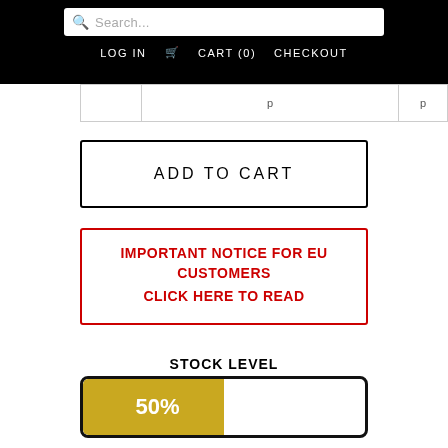Search... | LOG IN  CART (0)  CHECKOUT
|  | p | p |
ADD TO CART
IMPORTANT NOTICE FOR EU CUSTOMERS
CLICK HERE TO READ
STOCK LEVEL
[Figure (infographic): Stock level progress bar showing 50% fill in gold/yellow color on white background with thick black border]